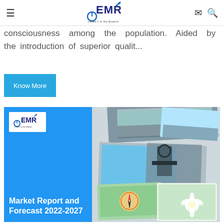EMR – Leave it to the Experts navigation bar
consciousness among the population. Aided by the introduction of superior qualit...
Know More
[Figure (illustration): EMR Market Report and Forecast 2022-2027 promotional image with blue left panel showing EMR logo and title, and right side showing collage of science/nature photos including microscope, herbs, flowers and landscape.]